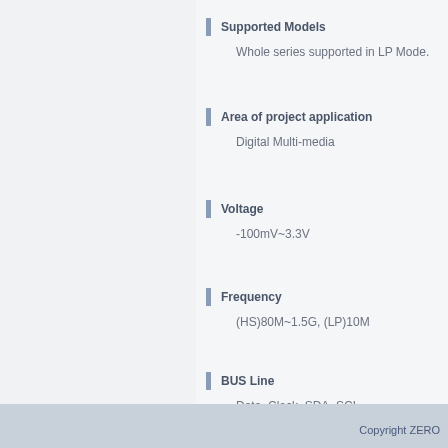Supported Models
Whole series supported in LP Mode.
Area of project application
Digital Multi-media
Voltage
-100mV~3.3V
Frequency
(HS)80M~1.5G, (LP)10M
BUS Line
Data, Clock, SDA, SCL
Copyright ZERO